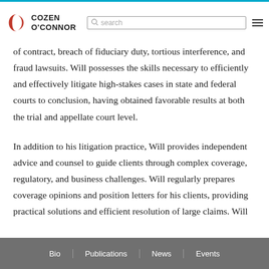Cozen O'Connor
of contract, breach of fiduciary duty, tortious interference, and fraud lawsuits. Will possesses the skills necessary to efficiently and effectively litigate high-stakes cases in state and federal courts to conclusion, having obtained favorable results at both the trial and appellate court level.
In addition to his litigation practice, Will provides independent advice and counsel to guide clients through complex coverage, regulatory, and business challenges. Will regularly prepares coverage opinions and position letters for his clients, providing practical solutions and efficient resolution of large claims. Will
Bio | Publications | News | Events